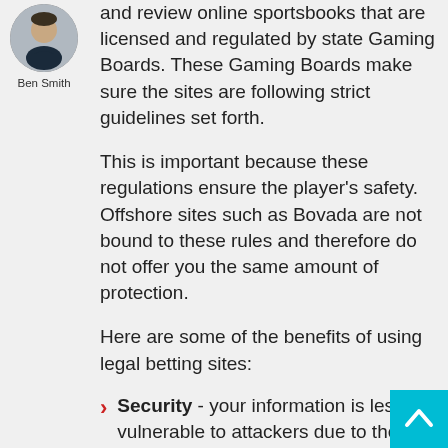[Figure (photo): Circular avatar photo of Ben Smith, a young man in a dark shirt]
Ben Smith
and review online sportsbooks that are licensed and regulated by state Gaming Boards. These Gaming Boards make sure the sites are following strict guidelines set forth.
This is important because these regulations ensure the player’s safety. Offshore sites such as Bovada are not bound to these rules and therefore do not offer you the same amount of protection.
Here are some of the benefits of using legal betting sites:
Security - your information is less vulnerable to attackers due to the strict securities put in place with legal sites.